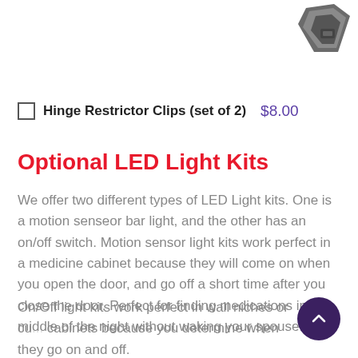[Figure (photo): Product photo of hinge restrictor clips in dark gray, shown in upper right corner]
Hinge Restrictor Clips (set of 2)  $8.00
Optional LED Light Kits
We offer two different types of LED Light kits. One is a motion senseor bar light, and the other has an on/off switch. Motion sensor light kits work perfect in a medicine cabinet because they will come on when you open the door, and go off a short time after you close the door. Perfect for finding medications in the middle of the night without waking your spouse!
On/Off light kits work perfect in wall niches or cu... cabinets because you determine when they go on and off.